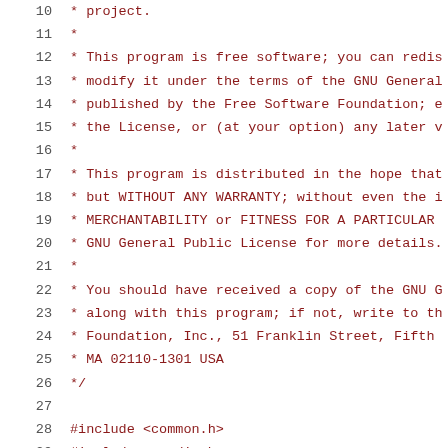Source code listing lines 10-31 showing GPL license header and include directives
10     * project.
11     *
12     * This program is free software; you can redis...
13     * modify it under the terms of the GNU General...
14     * published by the Free Software Foundation; e...
15     * the License, or (at your option) any later v...
16     *
17     * This program is distributed in the hope that...
18     * but WITHOUT ANY WARRANTY; without even the i...
19     * MERCHANTABILITY or FITNESS FOR A PARTICULAR...
20     * GNU General Public License for more details.
21     *
22     * You should have received a copy of the GNU G...
23     * along with this program; if not, write to th...
24     * Foundation, Inc., 51 Franklin Street, Fifth ...
25     * MA 02110-1301 USA
26     */
27
28     #include <common.h>
29     #include <asm/io.h>
30     #include <usb.h>
31     #include <asm/arch/cpu.h>